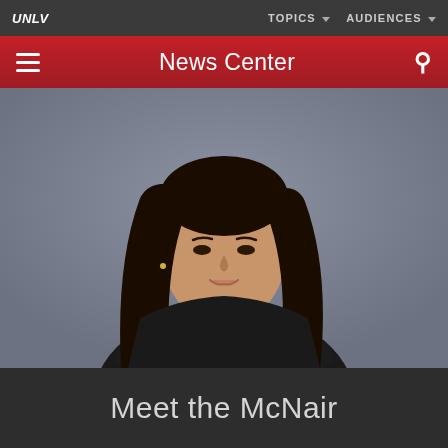UNLV  TOPICS  AUDIENCES
News Center
[Figure (photo): Young woman with long dark hair wearing a black top, arms crossed, smiling, photographed against a gray-blue background. Professional portrait style.]
Meet the McNair